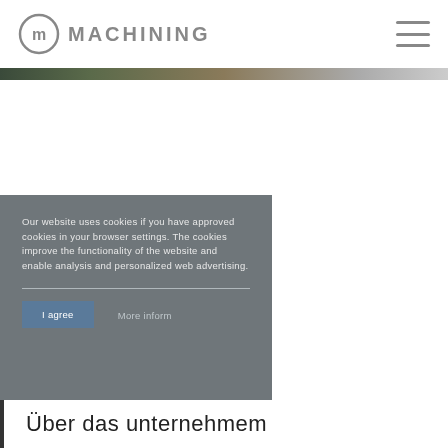[Figure (logo): Machining company logo with circular M symbol and text MACHINING in grey uppercase letters, plus hamburger menu icon in top right]
[Figure (photo): Thin horizontal image strip showing a blurred industrial or outdoor scene in muted greens and greys]
Our website uses cookies if you have approved cookies in your browser settings. The cookies improve the functionality of the website and enable analysis and personalized web advertising.
I agree
More inform
Über das unternehmem